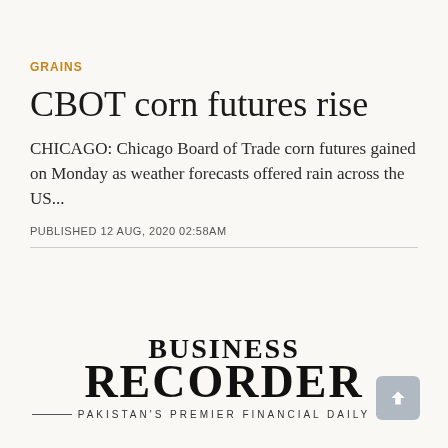GRAINS
CBOT corn futures rise
CHICAGO: Chicago Board of Trade corn futures gained on Monday as weather forecasts offered rain across the US...
PUBLISHED 12 AUG, 2020 02:58AM
[Figure (logo): Business Recorder newspaper logo with tagline: Pakistan's Premier Financial Daily]